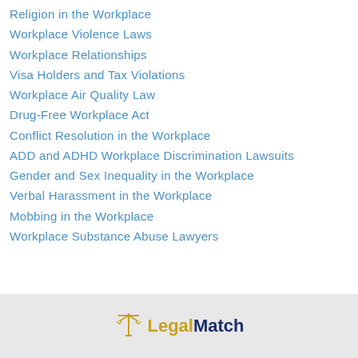Religion in the Workplace
Workplace Violence Laws
Workplace Relationships
Visa Holders and Tax Violations
Workplace Air Quality Law
Drug-Free Workplace Act
Conflict Resolution in the Workplace
ADD and ADHD Workplace Discrimination Lawsuits
Gender and Sex Inequality in the Workplace
Verbal Harassment in the Workplace
Mobbing in the Workplace
Workplace Substance Abuse Lawyers
[Figure (logo): LegalMatch logo with scales of justice icon, 'Legal' in gold and 'Match' in dark navy blue]